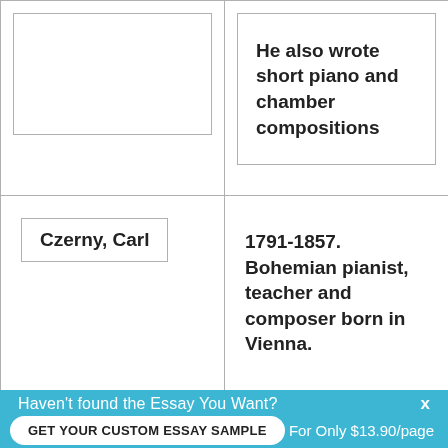He also wrote short piano and chamber compositions
Czerny, Carl
1791-1857.  Bohemian pianist, teacher and composer born in Vienna.
Haven't found the Essay You Want?
GET YOUR CUSTOM ESSAY SAMPLE
For Only $13.90/page
x